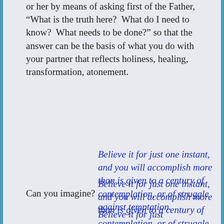or her by means of asking first of the Father, “What is the truth here?  What do I need to know?  What needs to be done?” so that the answer can be the basis of what you do with your partner that reflects holiness, healing, transformation, atonement.
Believe it for just one instant, and you will accomplish more than is given to a century of contemplation, or of struggle against temptation.
Can you imagine?
Believe it for just